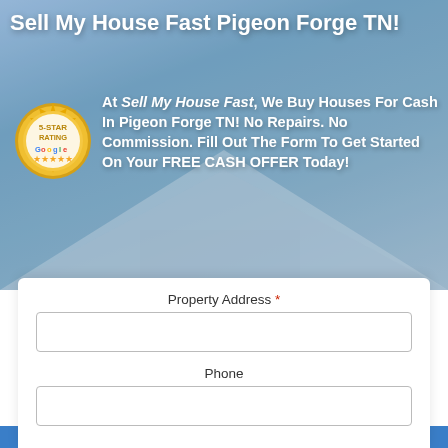Sell My House Fast Pigeon Forge TN!
[Figure (illustration): 5-Star Rating Google badge/seal in gold]
At Sell My House Fast, We Buy Houses For Cash In Pigeon Forge TN! No Repairs. No Commission. Fill Out The Form To Get Started On Your FREE CASH OFFER Today!
Property Address *
Phone